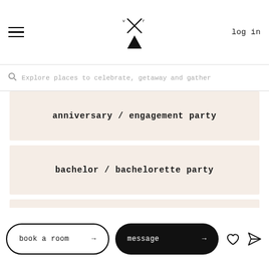log in
Explore places to celebrate, getaway and gather
anniversary / engagement party
bachelor / bachelorette party
birthday party
bridal shower
book a room → | message →